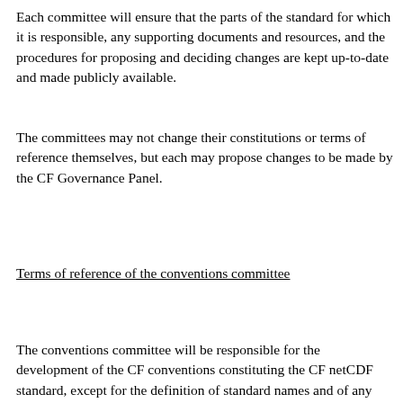Each committee will ensure that the parts of the standard for which it is responsible, any supporting documents and resources, and the procedures for proposing and deciding changes are kept up-to-date and made publicly available.
The committees may not change their constitutions or terms of reference themselves, but each may propose changes to be made by the CF Governance Panel.
Terms of reference of the conventions committee
The conventions committee will be responsible for the development of the CF conventions constituting the CF netCDF standard, except for the definition of standard names and of any other aspects of controlled vocabulary in the appendices to the standard that it agrees with the standard names committee should